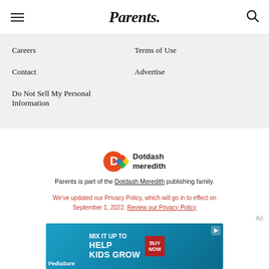Parents
Careers
Terms of Use
Contact
Advertise
Do Not Sell My Personal Information
[Figure (logo): Dotdash Meredith logo with orange D and colorful interlocking diamond pattern]
Parents is part of the Dotdash Meredith publishing family.
We've updated our Privacy Policy, which will go in to effect on September 1, 2022. Review our Privacy Policy
Ad
[Figure (photo): PediaSure advertisement banner: mix it up to HELP KIDS GROW, BUY NOW button]